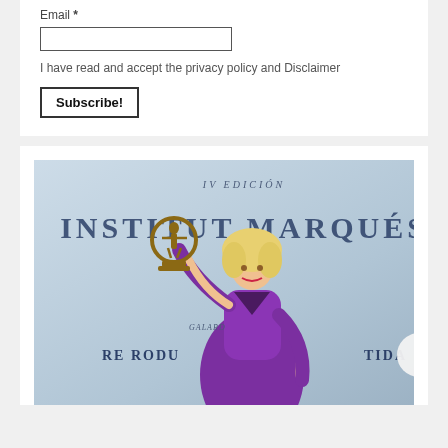Email *
I have read and accept the privacy policy and Disclaimer
Subscribe!
[Figure (photo): A woman in a purple dress holding a trophy (Vitruvian Man figure in a circular frame) at an Institut Marqués IV Edición gala event. Background shows blue backdrop with 'INSTITUT MARQUÉS' text and 'IV EDICIÓN', 'GALARDÓN', 'REPRODUCIDA' text visible.]